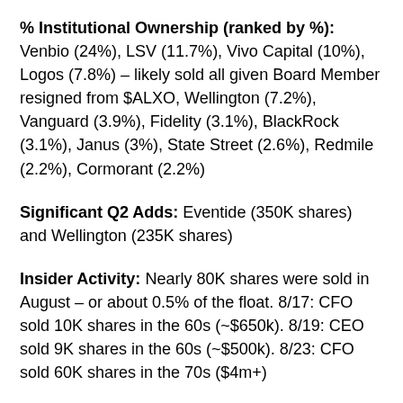% Institutional Ownership (ranked by %): Venbio (24%), LSV (11.7%), Vivo Capital (10%), Logos (7.8%) – likely sold all given Board Member resigned from $ALXO, Wellington (7.2%), Vanguard (3.9%), Fidelity (3.1%), BlackRock (3.1%), Janus (3%), State Street (2.6%), Redmile (2.2%), Cormorant (2.2%)
Significant Q2 Adds: Eventide (350K shares) and Wellington (235K shares)
Insider Activity: Nearly 80K shares were sold in August – or about 0.5% of the float. 8/17: CFO sold 10K shares in the 60s (~$650k). 8/19: CEO sold 9K shares in the 60s (~$500k). 8/23: CFO sold 60K shares in the 70s ($4m+)